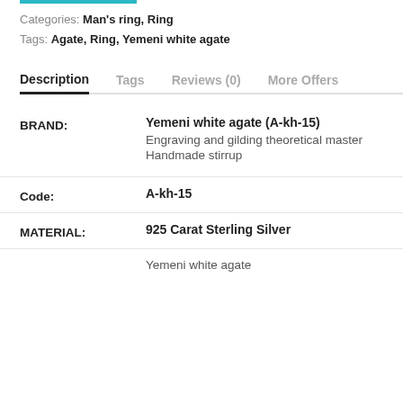Categories: Man's ring, Ring
Tags: Agate, Ring, Yemeni white agate
Description  Tags  Reviews (0)  More Offers
| Label | Value |
| --- | --- |
| BRAND: | Yemeni white agate (A-kh-15)
Engraving and gilding theoretical master
Handmade stirrup |
| Code: | A-kh-15 |
| MATERIAL: | 925 Carat Sterling Silver |
|  | Yemeni white agate |